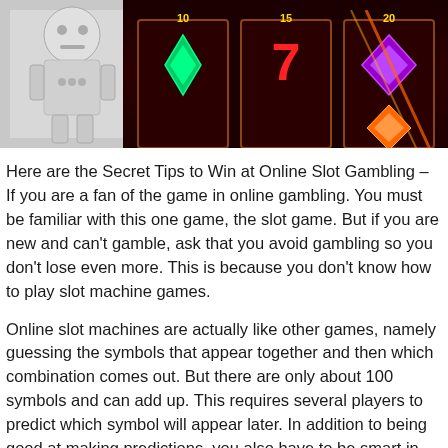[Figure (photo): Banner image showing a robot/AI figure on the left against a silver background, and colorful slot machine symbols (diamonds, sevens, gems in green, purple, orange) on the right against a dark red/black background.]
Here are the Secret Tips to Win at Online Slot Gambling – If you are a fan of the game in online gambling. You must be familiar with this one game, the slot game. But if you are new and can't gamble, ask that you avoid gambling so you don't lose even more. This is because you don't know how to play slot machine games.
Online slot machines are actually like other games, namely guessing the symbols that appear together and then which combination comes out. But there are only about 100 symbols and can add up. This requires several players to predict which symbol will appear later. In addition to being good at making predictions, you also have to be smart in choosing your online gambling site agent.
The Secret To Win Big When Playing Online Slot Games